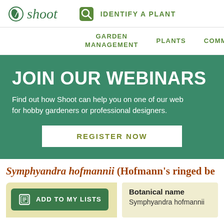shoot | IDENTIFY A PLANT
GARDEN MANAGEMENT    PLANTS    COMMU
[Figure (screenshot): Green banner with JOIN OUR WEBINARS heading, subtext and REGISTER NOW button]
Symphyandra hofmannii (Hofmann's ringed be
[Figure (screenshot): ADD TO MY LISTS button in green on yellow-green card]
Botanical name
Symphyandra hofmannii